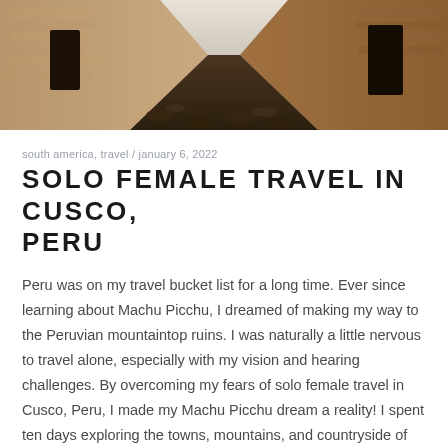[Figure (photo): A narrow cobblestone alley in Cusco, Peru, flanked by stone walls and old buildings, with bright sky visible above.]
south america, travel / january 6, 2022
SOLO FEMALE TRAVEL IN CUSCO, PERU
Peru was on my travel bucket list for a long time. Ever since learning about Machu Picchu, I dreamed of making my way to the Peruvian mountaintop ruins. I was naturally a little nervous to travel alone, especially with my vision and hearing challenges. By overcoming my fears of solo female travel in Cusco, Peru, I made my Machu Picchu dream a reality! I spent ten days exploring the towns, mountains, and countryside of Peru. I spent most of my solo time in Cusco before joining a tour group for t[...]